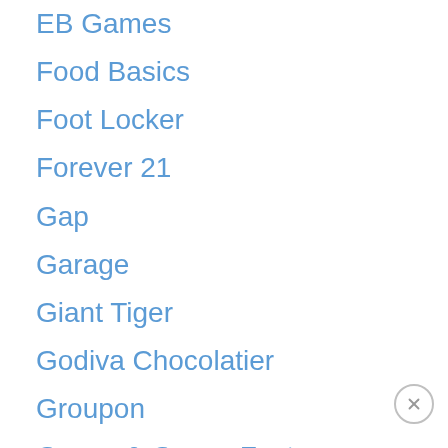EB Games
Food Basics
Foot Locker
Forever 21
Gap
Garage
Giant Tiger
Godiva Chocolatier
Groupon
Guess & Guess Factory
Hallmark
Harvey's
Hatley
H&M
Home Outfitters
Hudson's Bay
IKEA
Indigo Chapters
Jack & Jones
Jean Machine
Joe Fresh
KFC